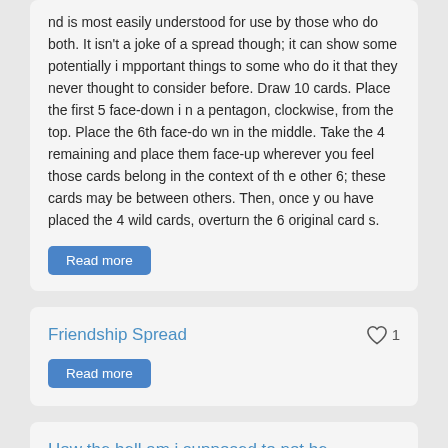nd is most easily understood for use by those who do both. It isn't a joke of a spread though; it can show some potentially important things to some who do it that they never thought to consider before. Draw 10 cards. Place the first 5 face-down in a pentagon, clockwise, from the top. Place the 6th face-down in the middle. Take the 4 remaining and place them face-up wherever you feel those cards belong in the context of the other 6; these cards may be between others. Then, once you have placed the 4 wild cards, overturn the 6 original cards.
Read more
Friendship Spread
1
Read more
How the hell am i supposed to not be awkward
0
going out with her seems worrisome